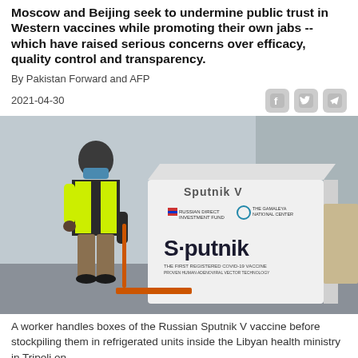Moscow and Beijing seek to undermine public trust in Western vaccines while promoting their own jabs -- which have raised serious concerns over efficacy, quality control and transparency.
By Pakistan Forward and AFP
2021-04-30
[Figure (photo): A worker wearing a blue face mask and yellow high-visibility jacket uses a pallet jack to handle a large white box labeled 'Sputnik V' — the first registered COVID-19 vaccine — with logos for the Russian Direct Investment Fund and The Gamaleya National Center visible on the box.]
A worker handles boxes of the Russian Sputnik V vaccine before stockpiling them in refrigerated units inside the Libyan health ministry in Tripoli on